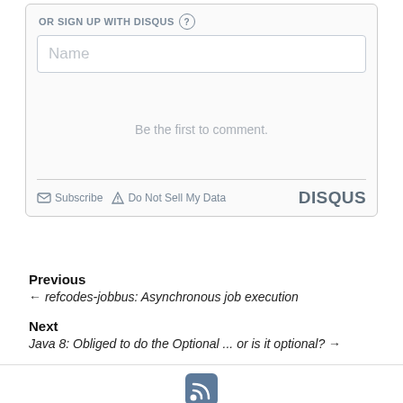OR SIGN UP WITH DISQUS (?)
[Figure (screenshot): Disqus comment widget with a Name input field, 'Be the first to comment.' message, Subscribe and Do Not Sell My Data links, and DISQUS branding]
Previous
← refcodes-jobbus: Asynchronous job execution
Next
Java 8: Obliged to do the Optional ... or is it optional? →
[Figure (logo): RSS feed icon at bottom center]